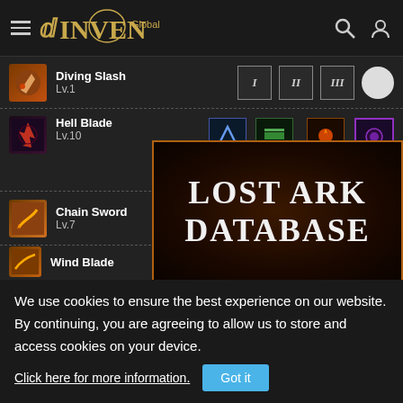INVEN Global
Diving Slash Lv.1
Hell Blade Lv.10 – Leap Lv.1, Deadly Blow Lv.1, Bloody Eruption Lv.1, Focus
Chain Sword Lv.7
Wind Blade
[Figure (screenshot): Lost Ark Database advertisement overlay]
We use cookies to ensure the best experience on our website. By continuing, you are agreeing to allow us to store and access cookies on your device.
Click here for more information.
Got it